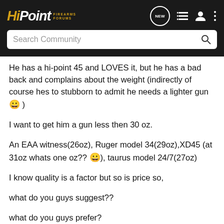[Figure (logo): Hi Point Firearms Forums logo with golden italic HiPoint text and white text, on dark background with navigation icons including a NEW chat bubble, list icon, user icon, and more options dots]
Search Community
He has a hi-point 45 and LOVES it, but he has a bad back and complains about the weight (indirectly of course hes to stubborn to admit he needs a lighter gun 😀 )
I want to get him a gun less then 30 oz.
An EAA witness(26oz), Ruger model 34(29oz),XD45 (at 31oz whats one oz?? 😀), taurus model 24/7(27oz)
I know quality is a factor but so is price so,
what do you guys suggest??
what do you guys prefer?